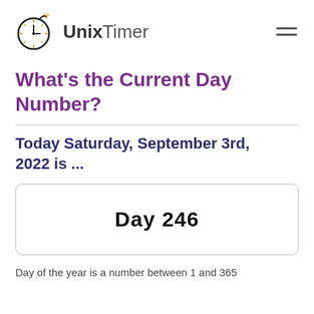UnixTimer
What's the Current Day Number?
Today Saturday, September 3rd, 2022 is ...
Day 246
Day of the year is a number between 1 and 365